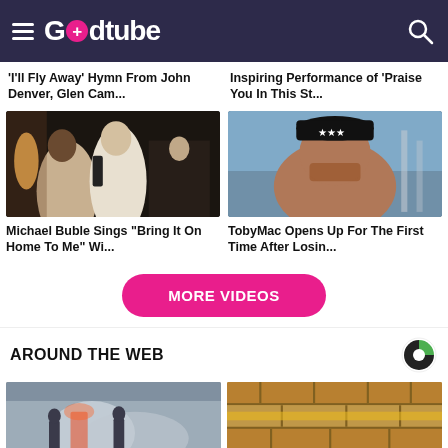Godtube
'I'll Fly Away' Hymn From John Denver, Glen Cam...
Inspiring Performance of 'Praise You In This St...
[Figure (photo): Michael Buble singing with another performer on stage]
Michael Buble Sings “Bring It On Home To Me” Wi...
[Figure (photo): TobyMac wearing a black cap and t-shirt]
TobyMac Opens Up For The First Time After Losin...
MORE VIDEOS
AROUND THE WEB
[Figure (photo): Firefighters in smoke]
[Figure (photo): Stone wall close-up]